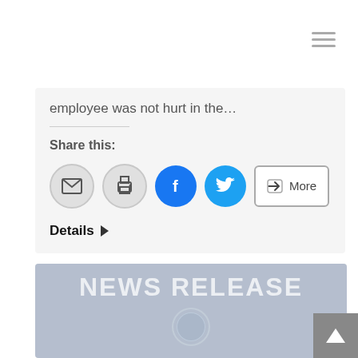Navigation menu (hamburger icon)
employee was not hurt in the…
Share this:
[Figure (screenshot): Social share buttons: email, print, Facebook, Twitter, More]
Details ▶
[Figure (logo): Regina Police Service News Release banner with police badge logo and text NEWS RELEASE]